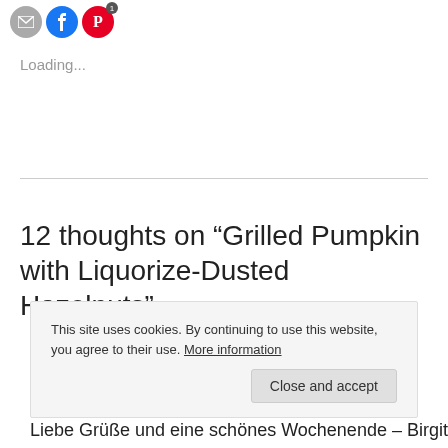[Figure (other): Social sharing icons: email (grey circle), Facebook (blue circle), Pinterest (red circle with badge showing 1)]
Loading...
12 thoughts on “Grilled Pumpkin with Liquorize-Dusted Hazelnuts”
This site uses cookies. By continuing to use this website, you agree to their use. More information
Close and accept
Liebe Grüße und eine schönes Wochenende – Birgit